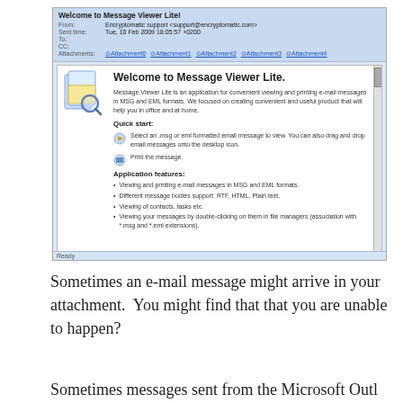[Figure (screenshot): Screenshot of Message Viewer Lite application showing email header with From, Sent time, To, CC, Attachments fields, and the welcome message body with application description, Quick start guide with two steps, and Application features list.]
Sometimes an e-mail message might arrive in your attachment.  You might find that that you are unable to happen?
Sometimes messages sent from the Microsoft Outl...